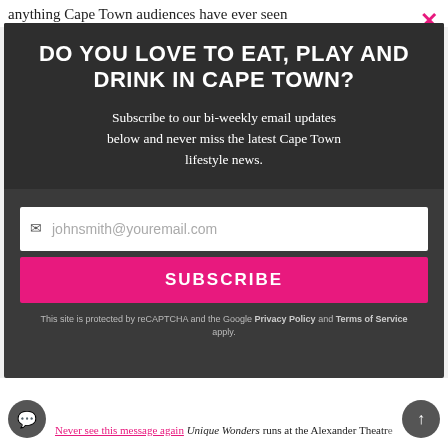anything Cape Town audiences have ever seen
DO YOU LOVE TO EAT, PLAY AND DRINK IN CAPE TOWN?
Subscribe to our bi-weekly email updates below and never miss the latest Cape Town lifestyle news.
johnsmith@youremail.com
SUBSCRIBE
This site is protected by reCAPTCHA and the Google Privacy Policy and Terms of Service apply.
Never see this message again Unique Wonders runs at the Alexander Theatre